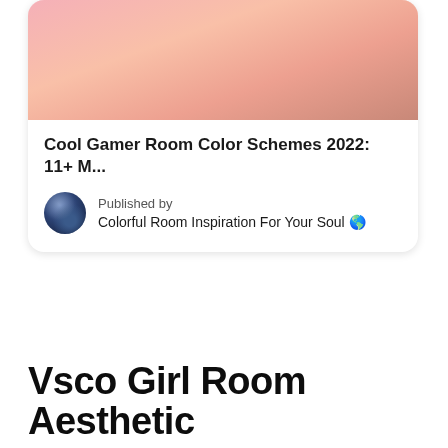[Figure (photo): Pink-toned bedroom or aesthetic photo used as card thumbnail image]
Cool Gamer Room Color Schemes 2022: 11+ M...
Published by
Colorful Room Inspiration For Your Soul 🌎
Vsco Girl Room Aesthetic